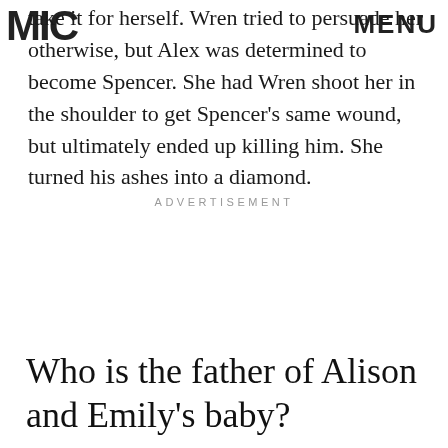MIC | MENU
take it for herself. Wren tried to persuade her otherwise, but Alex was determined to become Spencer. She had Wren shoot her in the shoulder to get Spencer's same wound, but ultimately ended up killing him. She turned his ashes into a diamond.
ADVERTISEMENT
Who is the father of Alison and Emily's baby?